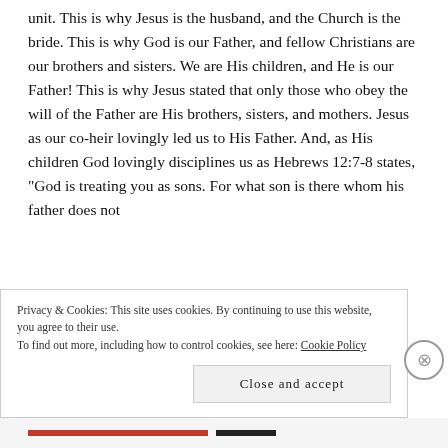unit. This is why Jesus is the husband, and the Church is the bride. This is why God is our Father, and fellow Christians are our brothers and sisters. We are His children, and He is our Father! This is why Jesus stated that only those who obey the will of the Father are His brothers, sisters, and mothers. Jesus as our co-heir lovingly led us to His Father. And, as His children God lovingly disciplines us as Hebrews 12:7-8 states, “God is treating you as sons. For what son is there whom his father does not
Privacy & Cookies: This site uses cookies. By continuing to use this website, you agree to their use.
To find out more, including how to control cookies, see here: Cookie Policy
Close and accept